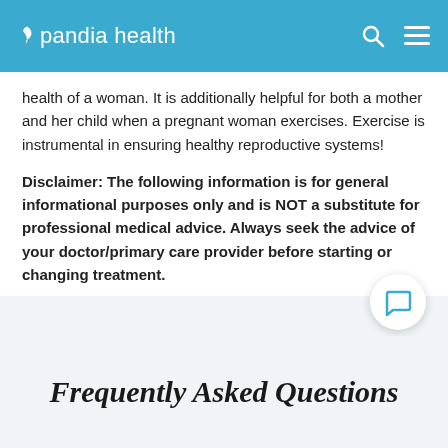pandia health
health of a woman. It is additionally helpful for both a mother and her child when a pregnant woman exercises. Exercise is instrumental in ensuring healthy reproductive systems!
Disclaimer: The following information is for general informational purposes only and is NOT a substitute for professional medical advice. Always seek the advice of your doctor/primary care provider before starting or changing treatment.
Frequently Asked Questions